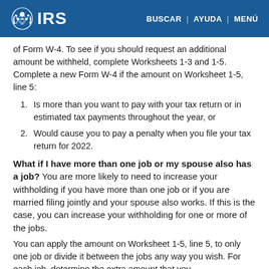IRS | BUSCAR | AYUDA | MENÚ
of Form W-4. To see if you should request an additional amount be withheld, complete Worksheets 1-3 and 1-5. Complete a new Form W-4 if the amount on Worksheet 1-5, line 5:
1. Is more than you want to pay with your tax return or in estimated tax payments throughout the year, or
2. Would cause you to pay a penalty when you file your tax return for 2022.
What if I have more than one job or my spouse also has a job?
You are more likely to need to increase your withholding if you have more than one job or if you are married filing jointly and your spouse also works. If this is the case, you can increase your withholding for one or more of the jobs.
You can apply the amount on Worksheet 1-5, line 5, to only one job or divide it between the jobs any way you wish. For each job, determine the extra amount that you